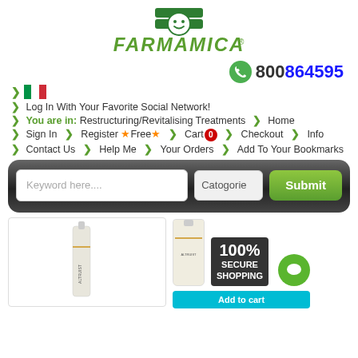[Figure (logo): Farmamica logo with smiley face icon and green text]
800864595
> Log In With Your Favorite Social Network!
> You are in: Restructuring/Revitalising Treatments > Home
> Sign In > Register ★Free★ > Cart 0 > Checkout > Info
> Contact Us > Help Me > Your Orders > Add To Your Bookmarks
[Figure (screenshot): Search bar with keyword input, categories dropdown and Submit button on dark rounded background]
[Figure (photo): Product image area and 100% Secure Shopping badge with chat bubble]